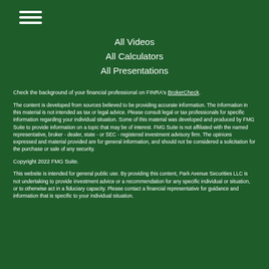[Figure (other): Hamburger menu icon with three horizontal white lines]
All Videos
All Calculators
All Presentations
Check the background of your financial professional on FINRA's BrokerCheck.
The content is developed from sources believed to be providing accurate information. The information in this material is not intended as tax or legal advice. Please consult legal or tax professionals for specific information regarding your individual situation. Some of this material was developed and produced by FMG Suite to provide information on a topic that may be of interest. FMG Suite is not affiliated with the named representative, broker - dealer, state - or SEC - registered investment advisory firm. The opinions expressed and material provided are for general information, and should not be considered a solicitation for the purchase or sale of any security.
Copyright 2022 FMG Suite.
This website is intended for general public use. By providing this content, Park Avenue Securities LLC is not undertaking to provide investment advice or a recommendation for any specific individual or situation, or to otherwise act in a fiduciary capacity. Please contact a financial representative for guidance and information that is specific to your individual situation.